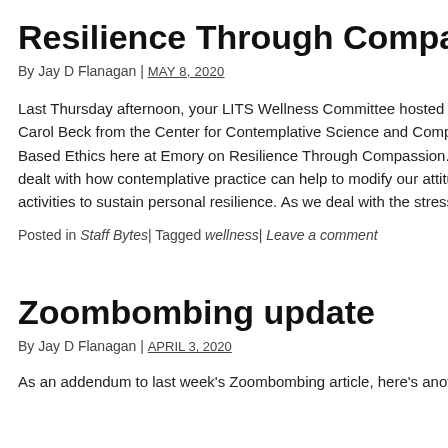Resilience Through Compassion webin…
By Jay D Flanagan | MAY 8, 2020
Last Thursday afternoon, your LITS Wellness Committee hosted a webin… Carol Beck from the Center for Contemplative Science and Compassion… Based Ethics here at Emory on Resilience Through Compassion. The we… dealt with how contemplative practice can help to modify our attitudes… activities to sustain personal resilience. As we deal with the stress of […
Posted in Staff Bytes| Tagged wellness| Leave a comment
Zoombombing update
By Jay D Flanagan | APRIL 3, 2020
As an addendum to last week's Zoombombing article, here's another so…